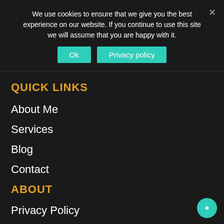We use cookies to ensure that we give you the best experience on our website. If you continue to use this site we will assume that you are happy with it.
Ok
Privacy policy
QUICK LINKS
About Me
Services
Blog
Contact
ABOUT
Privacy Policy
Terms Of Service